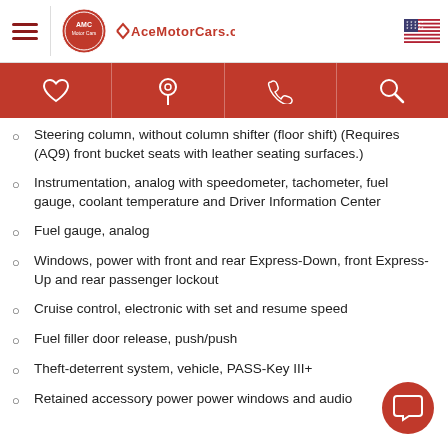AceMotorCars.com
Steering column, without column shifter (floor shift) (Requires (AQ9) front bucket seats with leather seating surfaces.)
Instrumentation, analog with speedometer, tachometer, fuel gauge, coolant temperature and Driver Information Center
Fuel gauge, analog
Windows, power with front and rear Express-Down, front Express-Up and rear passenger lockout
Cruise control, electronic with set and resume speed
Fuel filler door release, push/push
Theft-deterrent system, vehicle, PASS-Key III+
Retained accessory power power windows and audio